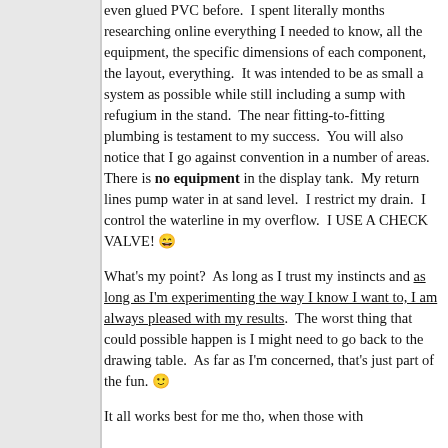even glued PVC before.  I spent literally months researching online everything I needed to know, all the equipment, the specific dimensions of each component, the layout, everything.  It was intended to be as small a system as possible while still including a sump with refugium in the stand.  The near fitting-to-fitting plumbing is testament to my success.  You will also notice that I go against convention in a number of areas.  There is no equipment in the display tank.  My return lines pump water in at sand level.  I restrict my drain.  I control the waterline in my overflow.  I USE A CHECK VALVE! 😄
What's my point?  As long as I trust my instincts and as long as I'm experimenting the way I know I want to, I am always pleased with my results.  The worst thing that could possible happen is I might need to go back to the drawing table.  As far as I'm concerned, that's just part of the fun. 🙂
It all works best for me tho, when those with